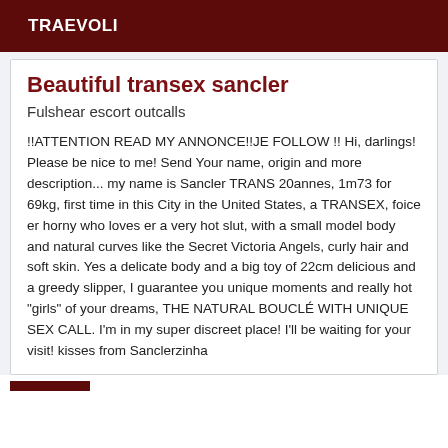TRAEVOLI
Beautiful transex sancler
Fulshear escort outcalls
!!ATTENTION READ MY ANNONCE!!JE FOLLOW !! Hi, darlings! Please be nice to me! Send Your name, origin and more description... my name is Sancler TRANS 20annes, 1m73 for 69kg, first time in this City in the United States, a TRANSEX, foice er horny who loves er a very hot slut, with a small model body and natural curves like the Secret Victoria Angels, curly hair and soft skin. Yes a delicate body and a big toy of 22cm delicious and a greedy slipper, I guarantee you unique moments and really hot "girls" of your dreams, THE NATURAL BOUCLÉ WITH UNIQUE SEX CALL. I'm in my super discreet place! I'll be waiting for your visit! kisses from Sanclerzinha